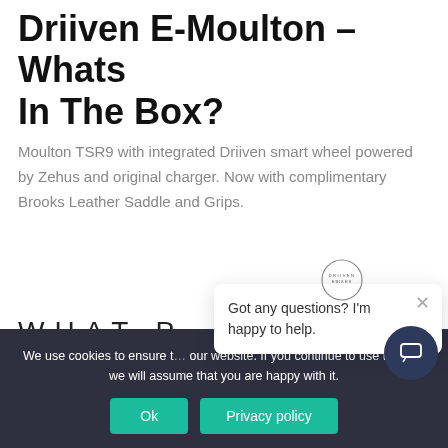Driiven E-Moulton – Whats In The Box?
Moulton TSR9 with integrated Driiven smart wheel powered by Zehus and original charger. Now with complimentary Brooks Leather Saddle and Grips.
WHAT P
[Figure (logo): Circular logo with text around the edge]
Got any questions? I'm happy to help.
We use cookies to ensure t... our website. If you continue to use this site we will assume that you are happy with it.
Ok
Privacy policy